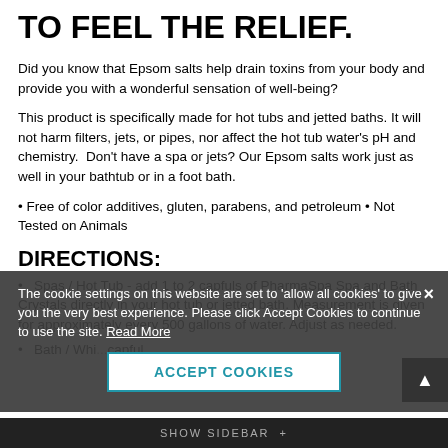TO FEEL THE RELIEF.
Did you know that Epsom salts help drain toxins from your body and provide you with a wonderful sensation of well-being?
This product is specifically made for hot tubs and jetted baths. It will not harm filters, jets, or pipes, nor affect the hot tub water's pH and chemistry. Don't have a spa or jets? Our Epsom salts work just as well in your bathtub or in a foot bath.
• Free of color additives, gluten, parabens, and petroleum • Not Tested on Animals
DIRECTIONS:
• Spas / Hot Tub - add 1 to 2 capfuls of PharmaSpa Spa and Bath Crystals directly in your hot tub or jetted bath. Measurement is given for approximately every 500 gallons of water. Adjust as needed.
• Bath / Whi... capful
The cookie settings on this website are set to 'allow all cookies' to give you the very best experience. Please click Accept Cookies to continue to use the site. Read More
ACCEPT COOKIES
SHOW SIDEBAR +